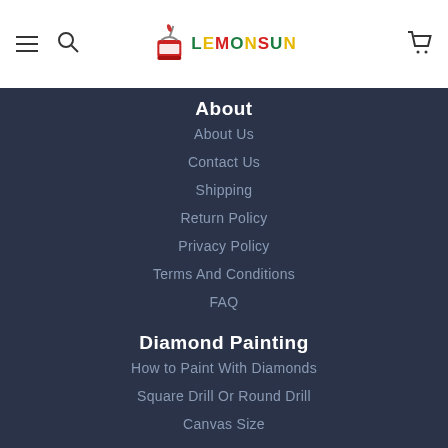Lemonsun logo with navigation menu and cart
About
About Us
Contact Us
Shipping
Return Policy
Privacy Policy
Terms And Conditions
FAQ
Diamond Painting
How to Paint With Diamonds
Square Drill Or Round Drill
Canvas Size
Paint By Numbers